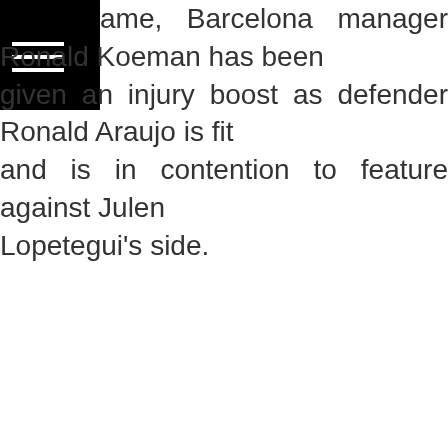ame, Barcelona manager Ronald Koeman has been given an injury boost as defender Ronald Araujo is fit and is in contention to feature against Julen Lopetegui's side.